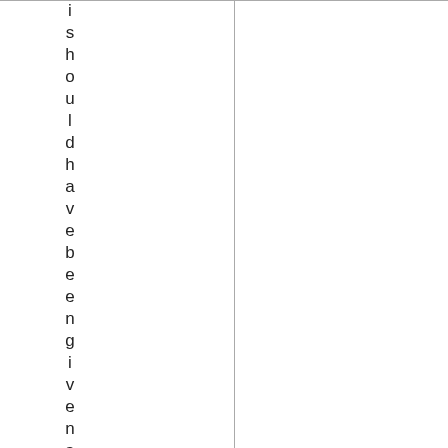i should have been given an opt